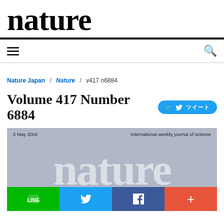nature
Nature Japan / Nature / v417 n6884
Volume 417 Number 6884
[Figure (photo): Cover of Nature journal Volume 417 Number 6884, dated 2 May 2002. Blue-grey background with large white italic 'nature' text watermark. Subtitle reads 'International weekly journal of science'.]
LINE  Twitter  Facebook  +